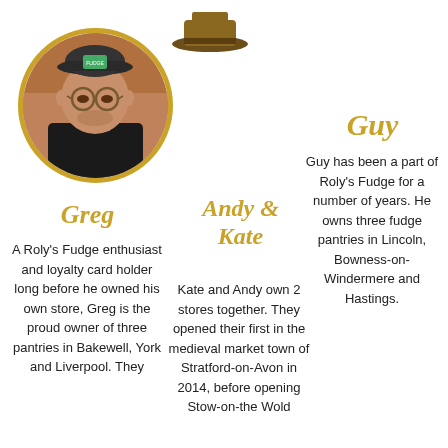[Figure (photo): Circular portrait photo of a man wearing glasses and a dark cap, with a brick wall background, framed in a gold circle border]
[Figure (illustration): Small illustration of a hat or logo at the top center of the page]
Guy
Guy has been a part of Roly's Fudge for a number of years. He owns three fudge pantries in Lincoln, Bowness-on-Windermere and Hastings.
Greg
A Roly's Fudge enthusiast and loyalty card holder long before he owned his own store, Greg is the proud owner of three pantries in Bakewell, York and Liverpool. They
Andy & Kate
Kate and Andy own 2 stores together. They opened their first in the medieval market town of Stratford-on-Avon in 2014, before opening Stow-on-the Wold